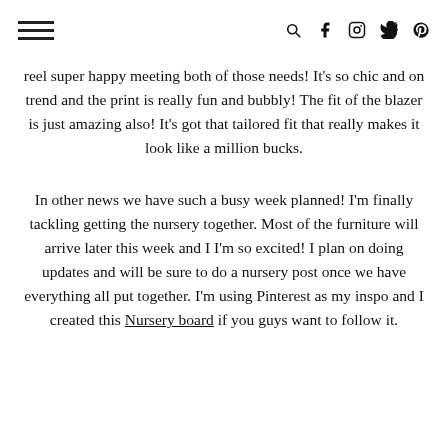[hamburger menu] [search] [facebook] [instagram] [twitter] [pinterest]
reel super happy meeting both of those needs! It's so chic and on trend and the print is really fun and bubbly! The fit of the blazer is just amazing also! It's got that tailored fit that really makes it look like a million bucks.
In other news we have such a busy week planned! I'm finally tackling getting the nursery together. Most of the furniture will arrive later this week and I I'm so excited! I plan on doing updates and will be sure to do a nursery post once we have everything all put together. I'm using Pinterest as my inspo and I created this Nursery board if you guys want to follow it.